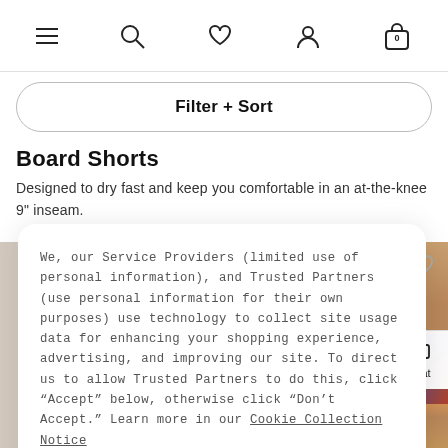Navigation bar with menu, search, wishlist, account, and cart (0) icons
Filter + Sort
Board Shorts
Designed to dry fast and keep you comfortable in an at-the-knee 9" inseam.
[Figure (photo): Model wearing colorful board shorts, showing lower body and product]
We, our Service Providers (limited use of personal information), and Trusted Partners (use personal information for their own purposes) use technology to collect site usage data for enhancing your shopping experience, advertising, and improving our site. To direct us to allow Trusted Partners to do this, click “Accept” below, otherwise click “Don’t Accept.” Learn more in our Cookie Collection Notice
Accept
Don't Accept